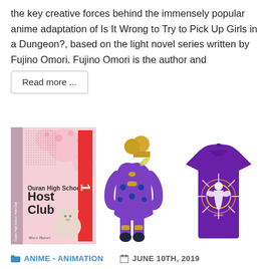the key creative forces behind the immensely popular anime adaptation of Is It Wrong to Try to Pick Up Girls in a Dungeon?, based on the light novel series written by Fujino Omori. Fujino Omori is the author and
Read more ...
[Figure (photo): Three product images side by side: (1) Ouran High School Host Club manga volume 1 with pink floral cover art and a bear, (2) a JoJo's Bizarre Adventure action figure in purple suit, (3) a purple t-shirt with anime character design.]
ANIME - ANIMATION   JUNE 10TH, 2019